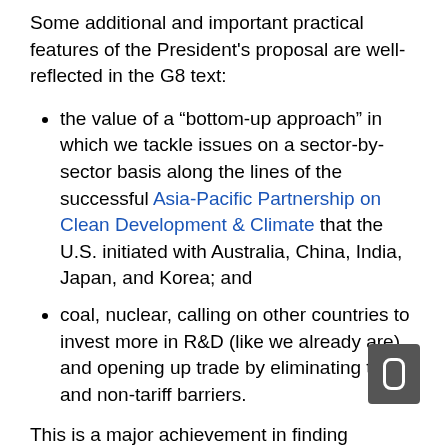Some additional and important practical features of the President's proposal are well-reflected in the G8 text:
the value of a “bottom-up approach” in which we tackle issues on a sector-by-sector basis along the lines of the successful Asia-Pacific Partnership on Clean Development & Climate that the U.S. initiated with Australia, China, India, Japan, and Korea; and
coal, nuclear, calling on other countries to invest more in R&D (like we already are), and opening up trade by eliminating tariff and non-tariff barriers.
This is a major achievement in finding convergence among a group of countries that have had difficulty finding consensus in the past on this issue. Kudos go to Dave McCormick, and to the Chairman of the President's Council on Environmental Quality, Jim Connaughton.